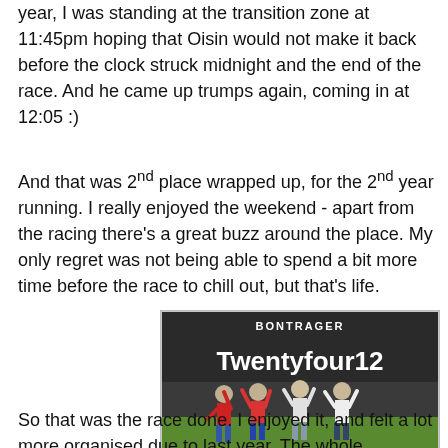year, I was standing at the transition zone at 11:45pm hoping that Oisin would not make it back before the clock struck midnight and the end of the race. And he came up trumps again, coming in at 12:05 :)
And that was 2nd place wrapped up, for the 2nd year running. I really enjoyed the weekend - apart from the racing there's a great buzz around the place. My only regret was not being able to spend a bit more time before the race to chill out, but that's life.
[Figure (photo): Four people standing with arms raised in front of a large Bontrager Twentyfour12 banner on a grass field]
So that was the race done. I enjoyed it, and felt a lot more organised due to last year. The whole operation ran with